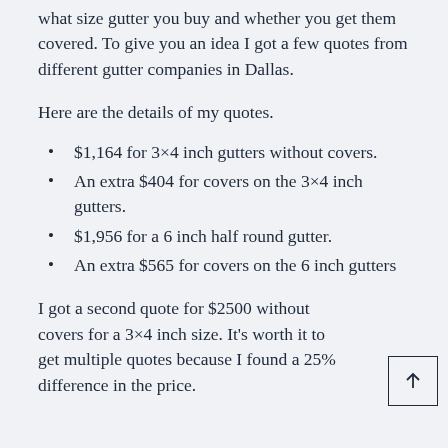what size gutter you buy and whether you get them covered. To give you an idea I got a few quotes from different gutter companies in Dallas.
Here are the details of my quotes.
$1,164 for 3×4 inch gutters without covers.
An extra $404 for covers on the 3×4 inch gutters.
$1,956 for a 6 inch half round gutter.
An extra $565 for covers on the 6 inch gutters
I got a second quote for $2500 without covers for a 3×4 inch size. It's worth it to get multiple quotes because I found a 25% difference in the price.